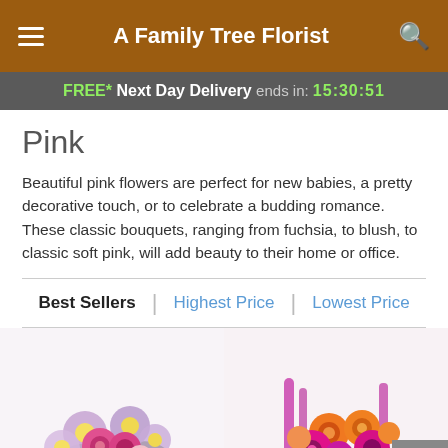A Family Tree Florist
FREE* Next Day Delivery ends in: 15:30:51
Pink
Beautiful pink flowers are perfect for new babies, a pretty decorative touch, or to celebrate a budding romance. These classic bouquets, ranging from fuchsia, to blush, to classic soft pink, will add beauty to their home or office.
Best Sellers | Highest Price | Lowest Price
[Figure (photo): Pink and lavender flower bouquet with roses and daisies]
[Figure (photo): Bright pink and orange flower bouquet with gerbera daisies and roses]